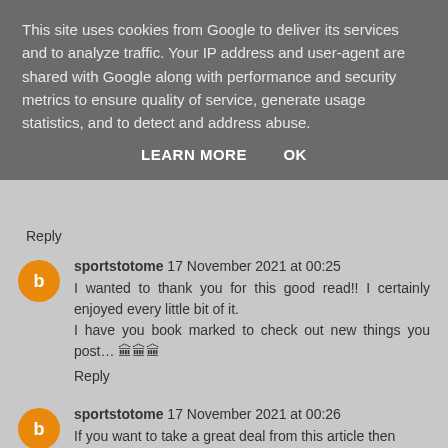This site uses cookies from Google to deliver its services and to analyze traffic. Your IP address and user-agent are shared with Google along with performance and security metrics to ensure quality of service, generate usage statistics, and to detect and address abuse.
LEARN MORE   OK
Reply
sportstotome 17 November 2021 at 00:25
I wanted to thank you for this good read!! I certainly enjoyed every little bit of it.
I have you book marked to check out new things you post… 🏛🏛🏛
Reply
sportstotome 17 November 2021 at 00:26
If you want to take a great deal from this article then